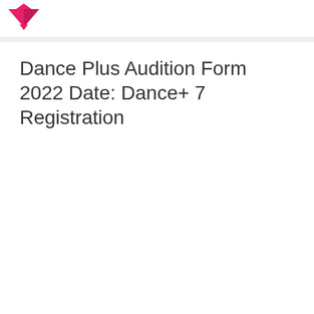[Figure (logo): Pink and magenta geometric diamond/arrow logo with horizontal pink bar to the right]
Dance Plus Audition Form 2022 Date: Dance+ 7 Registration